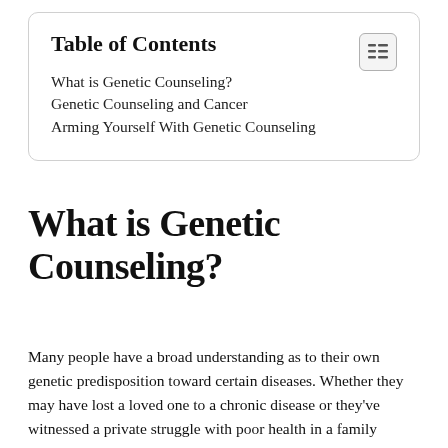Table of Contents
What is Genetic Counseling?
Genetic Counseling and Cancer
Arming Yourself With Genetic Counseling
What is Genetic Counseling?
Many people have a broad understanding as to their own genetic predisposition toward certain diseases. Whether they may have lost a loved one to a chronic disease or they've witnessed a private struggle with poor health in a family